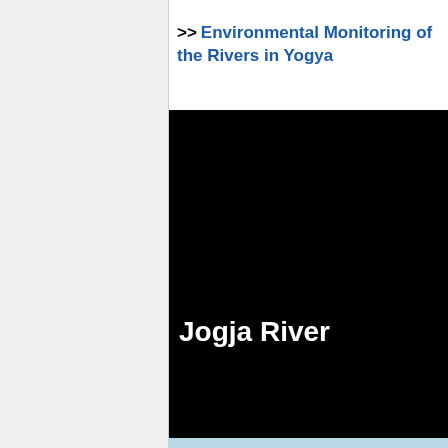>> Environmental Monitoring of the Rivers in Yogya
[Figure (screenshot): Black video frame/screenshot showing white bold text 'Jogja River' (partially visible) on a black background, representing an environmental monitoring video about rivers in Yogyakarta.]